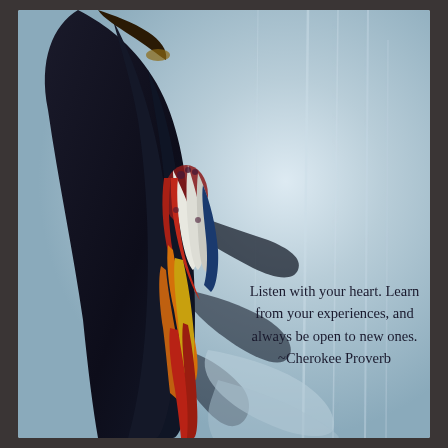[Figure (illustration): Watercolor illustration of a Native American figure with long black hair adorned with colorful feathers (red, white, blue, yellow, orange) against a soft blue-grey background. The figure is shown from behind/side, with feathers cascading down.]
Listen with your heart. Learn from your experiences, and always be open to new ones. ~Cherokee Proverb